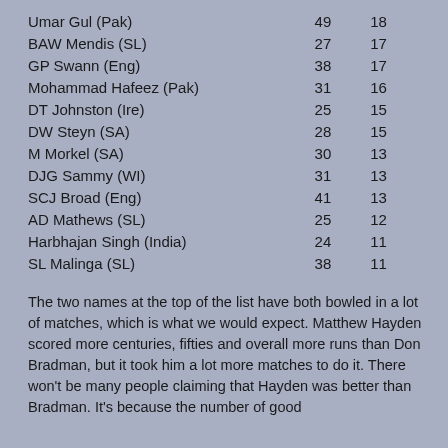| Player |  |  |
| --- | --- | --- |
| Umar Gul (Pak) | 49 | 18 |
| BAW Mendis (SL) | 27 | 17 |
| GP Swann (Eng) | 38 | 17 |
| Mohammad Hafeez (Pak) | 31 | 16 |
| DT Johnston (Ire) | 25 | 15 |
| DW Steyn (SA) | 28 | 15 |
| M Morkel (SA) | 30 | 13 |
| DJG Sammy (WI) | 31 | 13 |
| SCJ Broad (Eng) | 41 | 13 |
| AD Mathews (SL) | 25 | 12 |
| Harbhajan Singh (India) | 24 | 11 |
| SL Malinga (SL) | 38 | 11 |
The two names at the top of the list have both bowled in a lot of matches, which is what we would expect. Matthew Hayden scored more centuries, fifties and overall more runs than Don Bradman, but it took him a lot more matches to do it. There won't be many people claiming that Hayden was better than Bradman. It's because the number of good performances they make more important than the fif